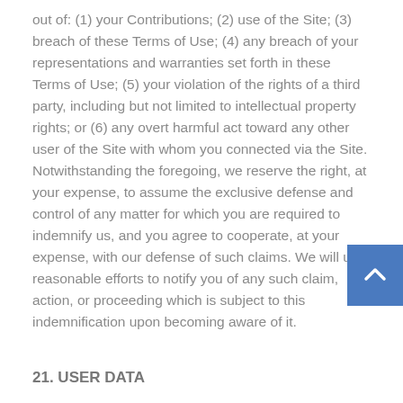out of: (1) your Contributions; (2) use of the Site; (3) breach of these Terms of Use; (4) any breach of your representations and warranties set forth in these Terms of Use; (5) your violation of the rights of a third party, including but not limited to intellectual property rights; or (6) any overt harmful act toward any other user of the Site with whom you connected via the Site. Notwithstanding the foregoing, we reserve the right, at your expense, to assume the exclusive defense and control of any matter for which you are required to indemnify us, and you agree to cooperate, at your expense, with our defense of such claims. We will use reasonable efforts to notify you of any such claim, action, or proceeding which is subject to this indemnification upon becoming aware of it.
21. USER DATA